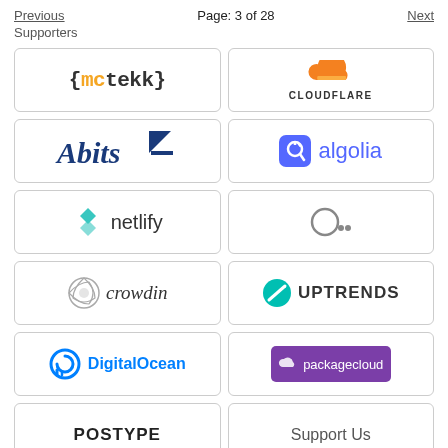Previous    Page: 3 of 28    Next
Supporters
[Figure (logo): mctekk logo — curly braces with mc in dark gray and tekk in orange]
[Figure (logo): Cloudflare logo — orange cloud icon above CLOUDFLARE text]
[Figure (logo): Abits logo — blue serif text with blue square icon]
[Figure (logo): Algolia logo — blue stopwatch icon with algolia in blue text]
[Figure (logo): Netlify logo — teal diamond grid icon with netlify text]
[Figure (logo): Linear logo — circle with two dots]
[Figure (logo): Crowdin logo — globe-like swirl icon with crowdin italic text]
[Figure (logo): Uptrends logo — teal circle with diagonal line icon and UPTRENDS text]
[Figure (logo): DigitalOcean logo — blue circular arrow icon with DigitalOcean text]
[Figure (logo): packagecloud logo — white cloud and text on purple background]
[Figure (logo): POSTYPE logo — bold black text]
[Figure (logo): Support Us text]